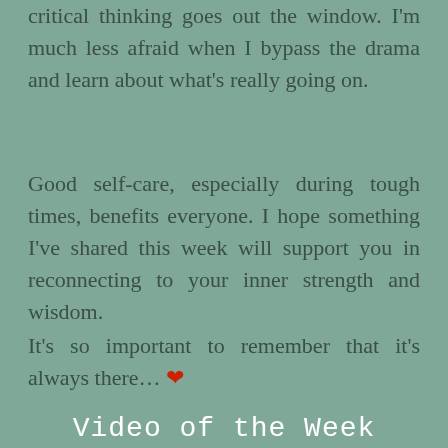critical thinking goes out the window. I'm much less afraid when I bypass the drama and learn about what's really going on.
Good self-care, especially during tough times, benefits everyone. I hope something I've shared this week will support you in reconnecting to your inner strength and wisdom.
It's so important to remember that it's always there… ❤
Video of the Week